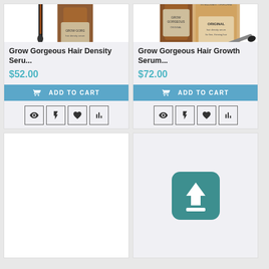[Figure (photo): Grow Gorgeous Hair Density Serum product photo showing amber dropper bottle]
Grow Gorgeous Hair Density Seru...
$52.00
ADD TO CART
[Figure (photo): Grow Gorgeous Hair Growth Serum product photo showing amber bottles with box packaging]
Grow Gorgeous Hair Growth Serum...
$72.00
ADD TO CART
[Figure (other): Empty white card placeholder bottom left]
[Figure (other): Teal upload/share icon button on bottom right card]